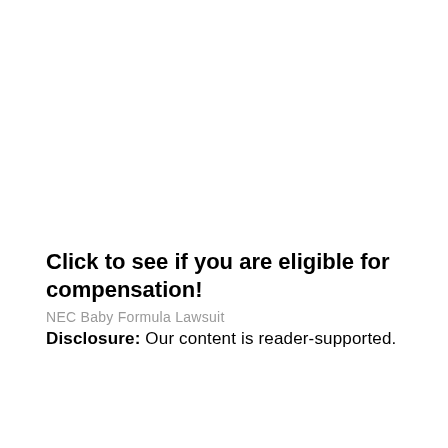Click to see if you are eligible for compensation!
NEC Baby Formula Lawsuit
Disclosure: Our content is reader-supported.